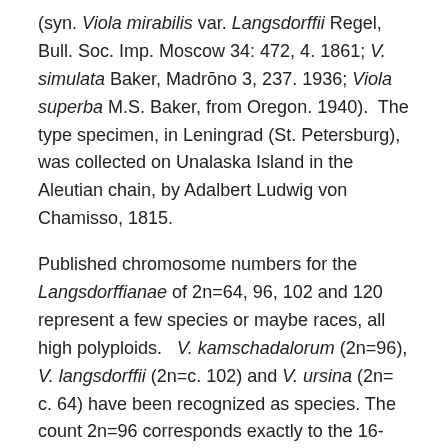(syn. Viola mirabilis var. Langsdorffii Regel, Bull. Soc. Imp. Moscow 34: 472, 4. 1861; V. simulata Baker, Madrōno 3, 237. 1936; Viola superba M.S. Baker, from Oregon. 1940).  The type specimen, in Leningrad (St. Petersburg), was collected on Unalaska Island in the Aleutian chain, by Adalbert Ludwig von Chamisso, 1815.
Published chromosome numbers for the Langsdorffianae of 2n=64, 96, 102 and 120 represent a few species or maybe races, all high polyploids.   V. kamschadalorum (2n=96), V. langsdorffii (2n=c. 102) and V. ursina (2n= c. 64) have been recognized as species. The count 2n=96 corresponds exactly to the 16-ploid level (i.e. 16×6), the 18-ploid level 2n=102 deviates only slightly from the expected 2n=104 (18×6). In Viola it is well...